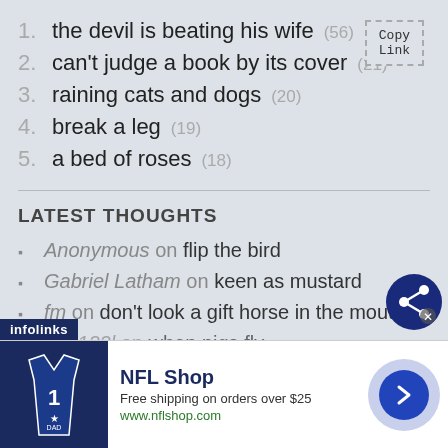1. the devil is beating his wife (56)
2. can't judge a book by its cover (21)
3. raining cats and dogs (20)
4. break a leg (19)
5. a bed of roses (18)
Latest Thoughts
Anonymous on flip the bird
Gabriel Latham on keen as mustard
fm on don't look a gift horse in the mouth
go1133l on when pigs fly
[Figure (screenshot): NFL Shop advertisement banner with jersey image, 'Free shipping on orders over $25', www.nflshop.com]